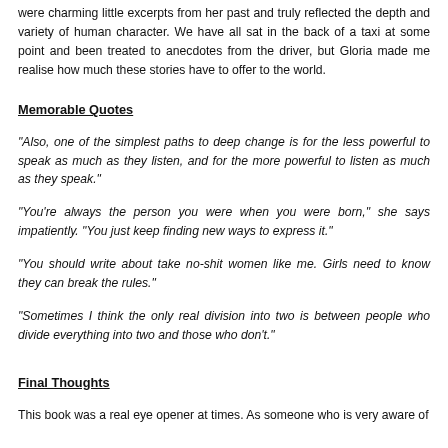were charming little excerpts from her past and truly reflected the depth and variety of human character. We have all sat in the back of a taxi at some point and been treated to anecdotes from the driver, but Gloria made me realise how much these stories have to offer to the world.
Memorable Quotes
“Also, one of the simplest paths to deep change is for the less powerful to speak as much as they listen, and for the more powerful to listen as much as they speak.”
“You’re always the person you were when you were born,” she says impatiently. “You just keep finding new ways to express it.”
“You should write about take no-shit women like me. Girls need to know they can break the rules.”
“Sometimes I think the only real division into two is between people who divide everything into two and those who don’t.”
Final Thoughts
This book was a real eye opener at times. As someone who is very aware of